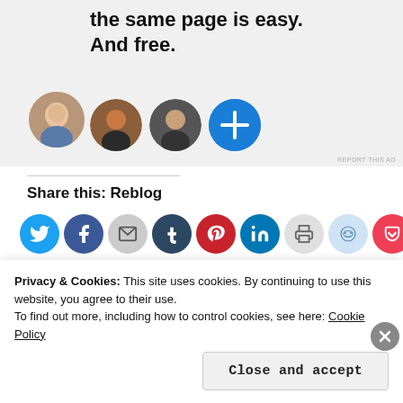[Figure (illustration): Advertisement banner with bold text 'the same page is easy. And free.' and three circular avatar photos plus a blue plus button]
REPORT THIS AD
Share this: Reblog
[Figure (illustration): Row of social media sharing icons: Twitter (blue), Facebook (blue), Email (grey), Tumblr (dark blue), Pinterest (red), LinkedIn (blue), Print (grey), Reddit (light blue), Pocket (red)]
More
[Figure (illustration): Like button with star icon and a row of circular avatar photos of people who liked]
Privacy & Cookies: This site uses cookies. By continuing to use this website, you agree to their use.
To find out more, including how to control cookies, see here: Cookie Policy
Close and accept